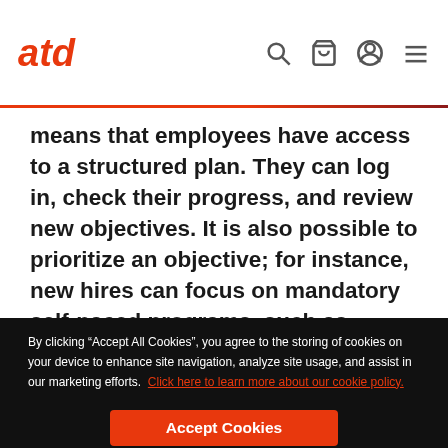atd
means that employees have access to a structured plan. They can log in, check their progress, and review new objectives. It is also possible to prioritize an objective; for instance, new hires can focus on mandatory self-paced programs, such as compliance and competency training, before moving on to other areas of their
By clicking “Accept All Cookies”, you agree to the storing of cookies on your device to enhance site navigation, analyze site usage, and assist in our marketing efforts. Click here to learn more about our cookie policy.
Accept Cookies